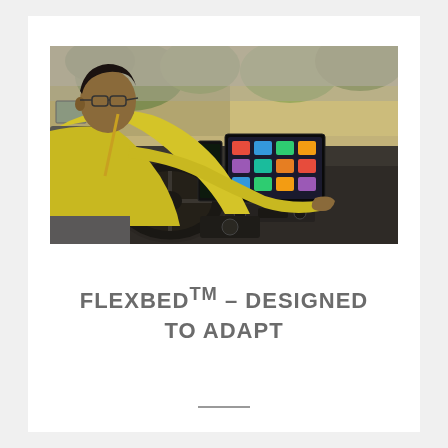[Figure (photo): A young man in a yellow hoodie sits in the driver's seat of a vehicle, reaching forward to touch the infotainment touchscreen. The dashboard shows a steering wheel, digital displays, and interior controls. Trees are visible through the windshield in the background.]
FLEXBED™ – DESIGNED TO ADAPT